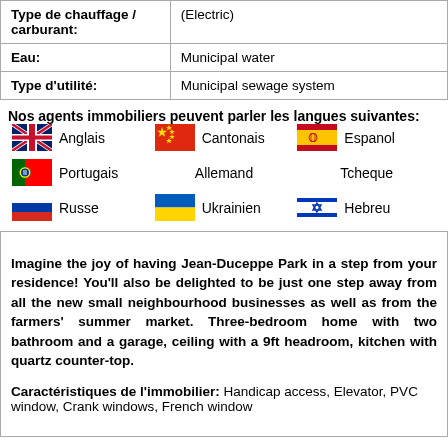| Type de chauffage / carburant: | (Electric) |
| Eau: | Municipal water |
| Type d'utilité: | Municipal sewage system |
Nos agents immobiliers peuvent parler les langues suivantes:
[Figure (infographic): Language flags and names: Anglais (UK flag), Cantonais (China flag), Espanol (Spain flag), Portugais (Portugal flag), Allemand (no flag), Tcheque (no flag), Russe (Russia flag), Ukrainien (Ukraine flag), Hebreu (Israel flag)]
Imagine the joy of having Jean-Duceppe Park in a step from your residence! You'll also be delighted to be just one step away from all the new small neighbourhood businesses as well as from the farmers' summer market. Three-bedroom home with two bathroom and a garage, ceiling with a 9ft headroom, kitchen with quartz counter-top.

Caractéristiques de l'immobilier: Handicap access, Elevator, PVC window, Crank windows, French window